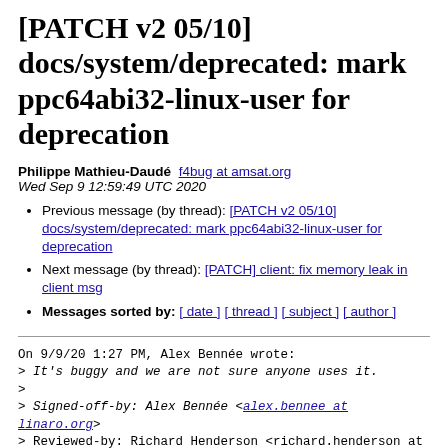[PATCH v2 05/10] docs/system/deprecated: mark ppc64abi32-linux-user for deprecation
Philippe Mathieu-Daudé f4bug at amsat.org
Wed Sep 9 12:59:49 UTC 2020
Previous message (by thread): [PATCH v2 05/10] docs/system/deprecated: mark ppc64abi32-linux-user for deprecation
Next message (by thread): [PATCH] client: fix memory leak in client msg
Messages sorted by: [ date ] [ thread ] [ subject ] [ author ]
On 9/9/20 1:27 PM, Alex Bennée wrote:
> It's buggy and we are not sure anyone uses it.
>
> Signed-off-by: Alex Bennée <alex.bennee at linaro.org>
> Reviewed-by: Richard Henderson <richard.henderson at